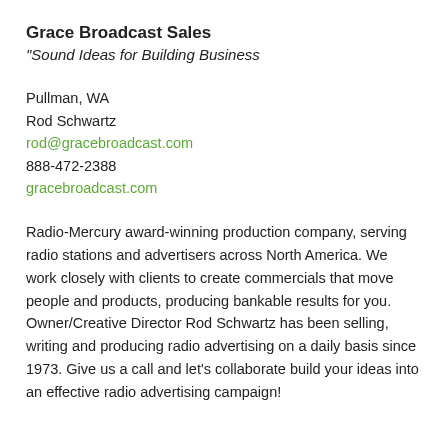Grace Broadcast Sales
"Sound Ideas for Building Business
Pullman, WA
Rod Schwartz
rod@gracebroadcast.com
888-472-2388
gracebroadcast.com
Radio-Mercury award-winning production company, serving radio stations and advertisers across North America. We work closely with clients to create commercials that move people and products, producing bankable results for you. Owner/Creative Director Rod Schwartz has been selling, writing and producing radio advertising on a daily basis since 1973. Give us a call and let's collaborate build your ideas into an effective radio advertising campaign!